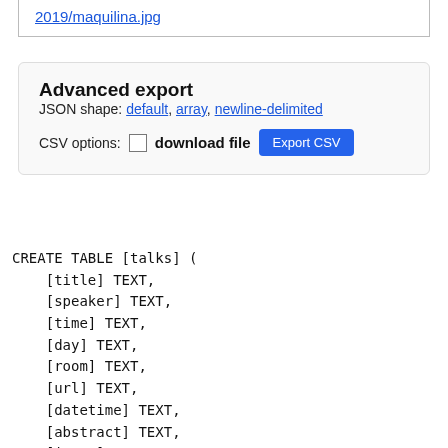2019/maquilina.jpg
Advanced export
JSON shape: default, array, newline-delimited
CSV options: □ download file  Export CSV
CREATE TABLE [talks] (
    [title] TEXT,
    [speaker] TEXT,
    [time] TEXT,
    [day] TEXT,
    [room] TEXT,
    [url] TEXT,
    [datetime] TEXT,
    [abstract] TEXT,
    [image] TEXT,